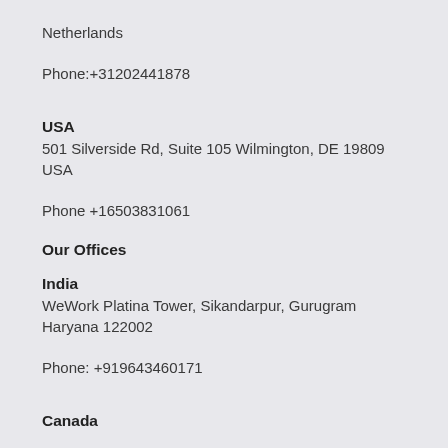Netherlands
Phone:+31202441878
USA
501 Silverside Rd, Suite 105 Wilmington, DE 19809 USA
Phone +16503831061
Our Offices
India
WeWork Platina Tower, Sikandarpur, Gurugram Haryana 122002
Phone: +919643460171
Canada